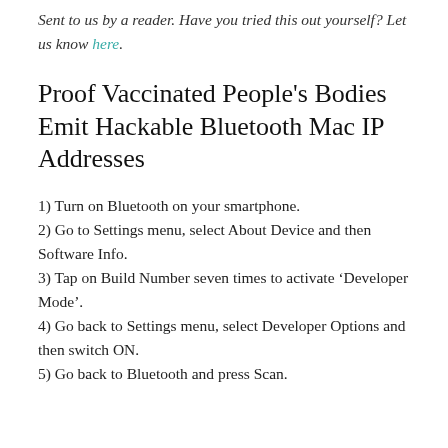Sent to us by a reader. Have you tried this out yourself? Let us know here.
Proof Vaccinated People's Bodies Emit Hackable Bluetooth Mac IP Addresses
1) Turn on Bluetooth on your smartphone.
2) Go to Settings menu, select About Device and then Software Info.
3) Tap on Build Number seven times to activate ‘Developer Mode’.
4) Go back to Settings menu, select Developer Options and then switch ON.
5) Go back to Bluetooth and press Scan.